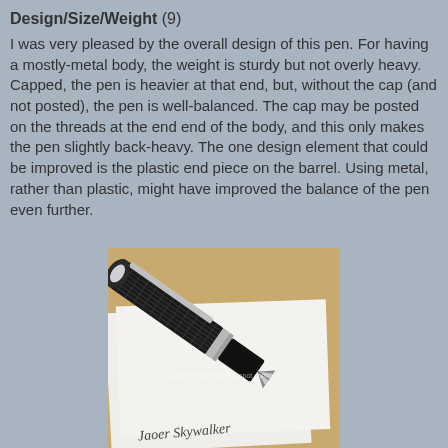Design/Size/Weight (9)
I was very pleased by the overall design of this pen. For having a mostly-metal body, the weight is sturdy but not overly heavy. Capped, the pen is heavier at that end, but, without the cap (and not posted), the pen is well-balanced. The cap may be posted on the threads at the end end of the body, and this only makes the pen slightly back-heavy. The one design element that could be improved is the plastic end piece on the barrel. Using metal, rather than plastic, might have improved the balance of the pen even further.
[Figure (photo): A fountain pen (Jaoer Skywalker) leaning against a piece of white paper on a wooden surface, showing the cap with clip and the nib, with handwritten text 'Jaoer Skywalker' visible at the bottom.]